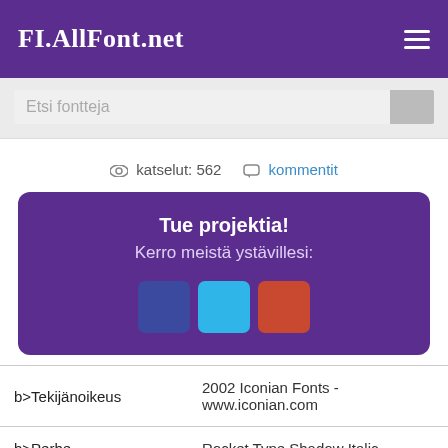FI.AllFont.net
Etsi fontteja
katselut: 562   kommentit
Tue projektia!
Kerro meistä ystävillesi:
|  |  |
| --- | --- |
| b>Tekijänoikeus | 2002 Iconian Fonts - www.iconian.com |
| b>Perhe | Rocket Type Shadow Italic |
| b>Seuranta | Shadow Italic |